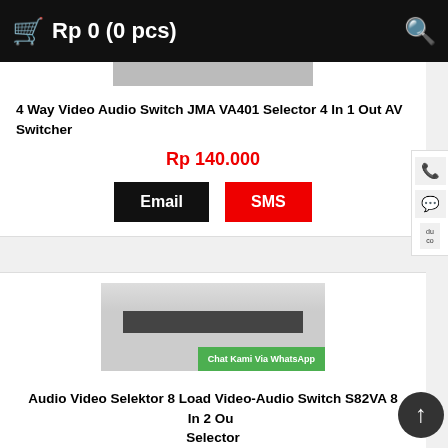Rp 0 (0 pcs)
[Figure (photo): Product image of 4 Way Video Audio Switch JMA VA401]
4 Way Video Audio Switch JMA VA401 Selector 4 In 1 Out AV Switcher
Rp 140.000
Email   SMS
[Figure (photo): Product image of Audio Video Selektor 8 Load Video-Audio Switch S82VA with Chat Kami Via WhatsApp overlay]
Audio Video Selektor 8 Load Video-Audio Switch S82VA 8 In 2 Out Selector